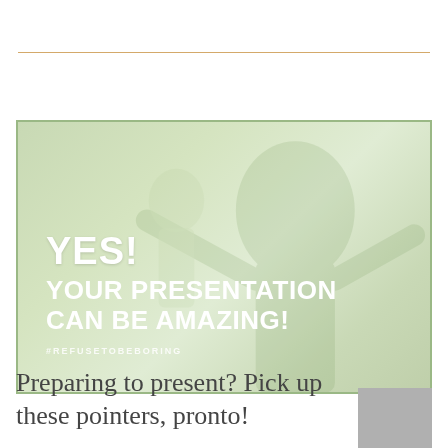[Figure (photo): A faded green-tinted photo of a person with arms outstretched in a field or outdoors setting, overlaid with bold white text: 'YES! YOUR PRESENTATION CAN BE AMAZING!' and hashtag '#REFUSETOBEBORING']
Preparing to present? Pick up these pointers, pronto!